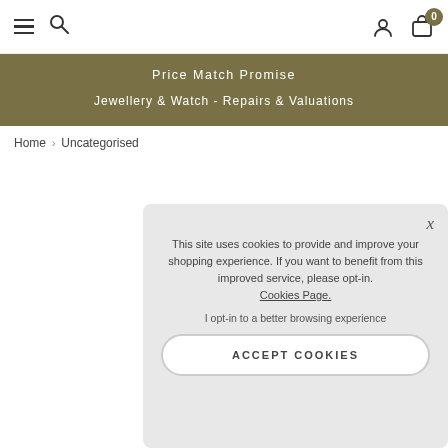Navigation bar with hamburger menu, search, user account, and cart (0 items)
Price Match Promise
Jewellery & Watch - Repairs & Valuations
Home › Uncategorised
This site uses cookies to provide and improve your shopping experience. If you want to benefit from this improved service, please opt-in. Cookies Page.
I opt-in to a better browsing experience
ACCEPT COOKIES